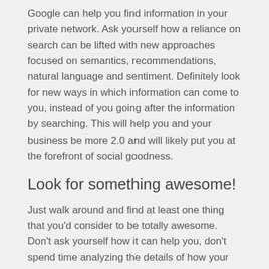Google can help you find information in your private network. Ask yourself how a reliance on search can be lifted with new approaches focused on semantics, recommendations, natural language and sentiment. Definitely look for new ways in which information can come to you, instead of you going after the information by searching. This will help you and your business be more 2.0 and will likely put you at the forefront of social goodness.
Look for something awesome!
Just walk around and find at least one thing that you'd consider to be totally awesome. Don't ask yourself how it can help you, don't spend time analyzing the details of how your organization would use it – just pick something and try it. You see, a trial is the best way to innovate in the world of social software. Most of the benefits that